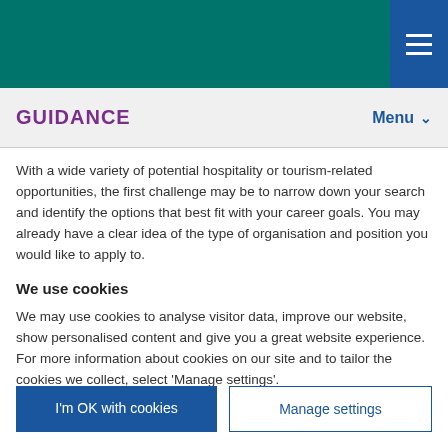GUIDANCE | Menu
With a wide variety of potential hospitality or tourism-related opportunities, the first challenge may be to narrow down your search and identify the options that best fit with your career goals. You may already have a clear idea of the type of organisation and position you would like to apply to.
We use cookies
We may use cookies to analyse visitor data, improve our website, show personalised content and give you a great website experience. For more information about cookies on our site and to tailor the cookies we collect, select 'Manage settings'.
I'm OK with cookies | Manage settings